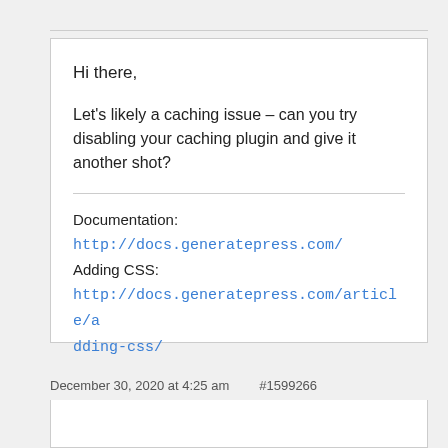Hi there,
Let's likely a caching issue – can you try disabling your caching plugin and give it another shot?
Documentation:
http://docs.generatepress.com/
Adding CSS:
http://docs.generatepress.com/article/adding-css/
December 30, 2020 at 4:25 am    #1599266